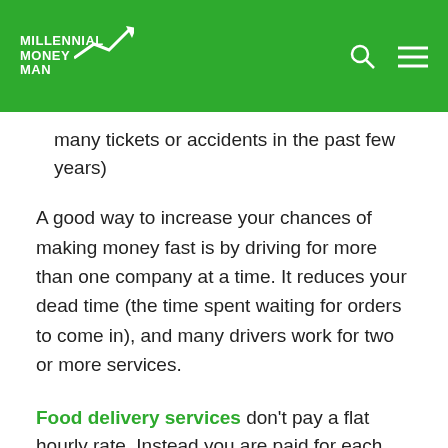MILLENNIAL MONEY MAN
many tickets or accidents in the past few years)
A good way to increase your chances of making money fast is by driving for more than one company at a time. It reduces your dead time (the time spent waiting for orders to come in), and many drivers work for two or more services.
Food delivery services don't pay a flat hourly rate. Instead you are paid for each order. The